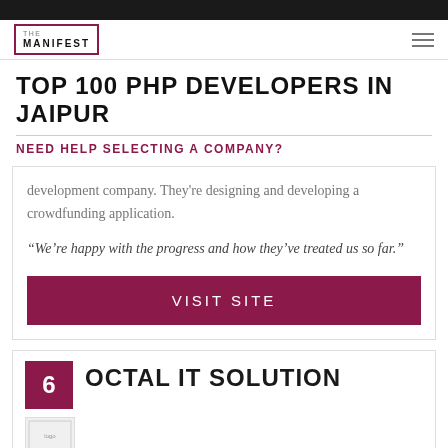[Figure (logo): The Manifest logo - square border with text THE MANIFEST]
TOP 100 PHP DEVELOPERS IN JAIPUR
NEED HELP SELECTING A COMPANY?
development company. They're designing and developing a crowdfunding application.
“We’re happy with the progress and how they’ve treated us so far.”
VISIT SITE
6
OCTAL IT SOLUTION